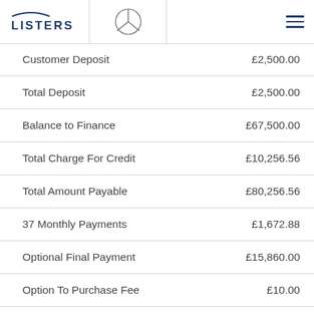LISTERS | Mercedes-Benz logo | menu
|  |  |
| --- | --- |
| Customer Deposit | £2,500.00 |
| Total Deposit | £2,500.00 |
| Balance to Finance | £67,500.00 |
| Total Charge For Credit | £10,256.56 |
| Total Amount Payable | £80,256.56 |
| 37 Monthly Payments | £1,672.88 |
| Optional Final Payment | £15,860.00 |
| Option To Purchase Fee | £10.00 |
| Contract Length | 37 Months |
| APR | 7.9% APR |